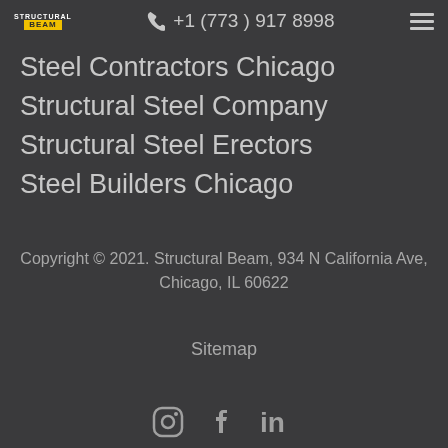STRUCTURAL BEAM | +1 (773) 917 8998
Steel Contractors Chicago
Structural Steel Company
Structural Steel Erectors
Steel Builders Chicago
Copyright © 2021. Structural Beam, 934 N California Ave, Chicago, IL 60622
Sitemap
[Figure (illustration): Social media icons: Instagram, Facebook, LinkedIn]